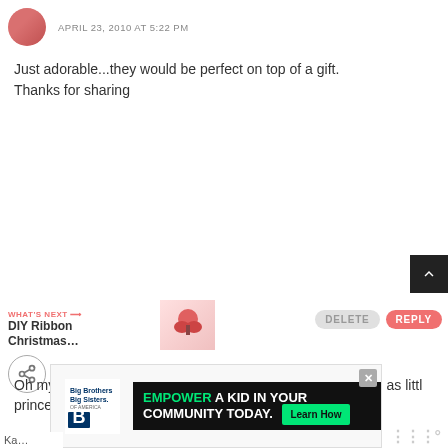APRIL 23, 2010 AT 5:22 PM
Just adorable...they would be perfect on top of a gift. Thanks for sharing
Anonymous
APRIL 24, 2010 AT 3:20 PM
Oh my goodness I am in love! These would be so gorgeous as little princess wands with sparkles and ribbon....oh or as ...! So much to see and create, I'm so glad i've stopped by....I'm inspired!
WHAT'S NEXT → DIY Ribbon Christmas...
[Figure (screenshot): Advertisement banner: Big Brothers Big Sisters logo, black background with text EMPOWER A KID IN YOUR COMMUNITY TODAY, green Learn How button, X close button]